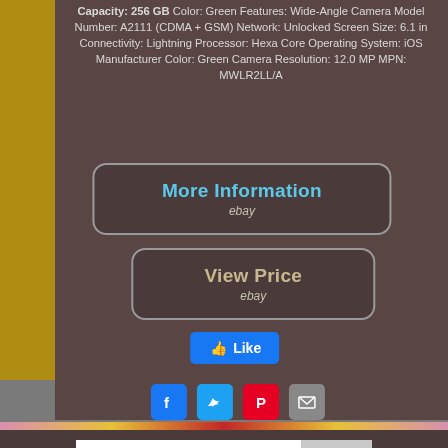Capacity: 256 GB Color: Green Features: Wide-Angle Camera Model Number: A2111 (CDMA + GSM) Network: Unlocked Screen Size: 6.1 in Connectivity: Lightning Processor: Hexa Core Operating System: iOS Manufacturer Color: Green Camera Resolution: 12.0 MP MPN: MWLR2LL/A
[Figure (other): More Information button linking to eBay]
[Figure (other): View Price button linking to eBay]
[Figure (other): Facebook Like button]
[Figure (other): Social share icons: Facebook, Twitter, Pinterest, Email]
[Figure (other): Decorative bottom strip with floral/mandala pattern]
[Figure (other): Search bar with text input and Search button]